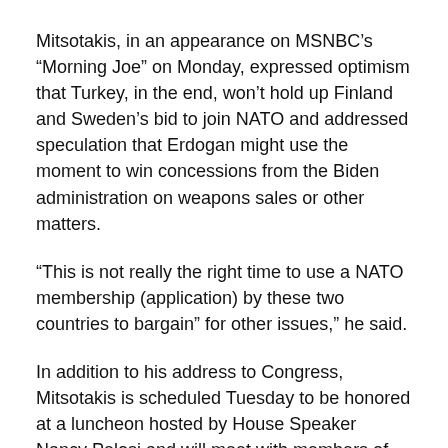Mitsotakis, in an appearance on MSNBC's “Morning Joe” on Monday, expressed optimism that Turkey, in the end, won’t hold up Finland and Sweden’s bid to join NATO and addressed speculation that Erdogan might use the moment to win concessions from the Biden administration on weapons sales or other matters.
“This is not really the right time to use a NATO membership (application) by these two countries to bargain” for other issues,” he said.
In addition to his address to Congress, Mitsotakis is scheduled Tuesday to be honored at a luncheon hosted by House Speaker Nancy Pelosi and will meet with members of the Congressional Caucus on Hellenic Issues and members of the Senate Foreign Relations Committee.